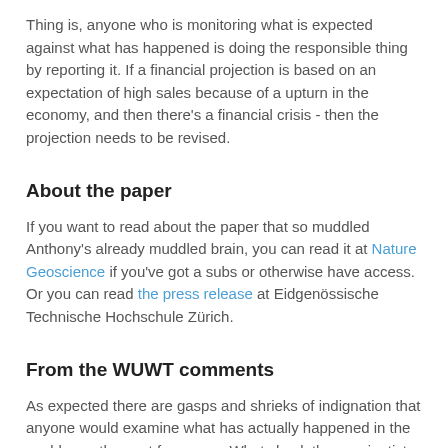Thing is, anyone who is monitoring what is expected against what has happened is doing the responsible thing by reporting it. If a financial projection is based on an expectation of high sales because of a upturn in the economy, and then there's a financial crisis - then the projection needs to be revised.
About the paper
If you want to read about the paper that so muddled Anthony's already muddled brain, you can read it at Nature Geoscience if you've got a subs or otherwise have access. Or you can read the press release at Eidgenössische Technische Hochschule Zürich.
From the WUWT comments
As expected there are gasps and shrieks of indignation that anyone would examine what has actually happened in the world over the past few years. What shock those scientists...